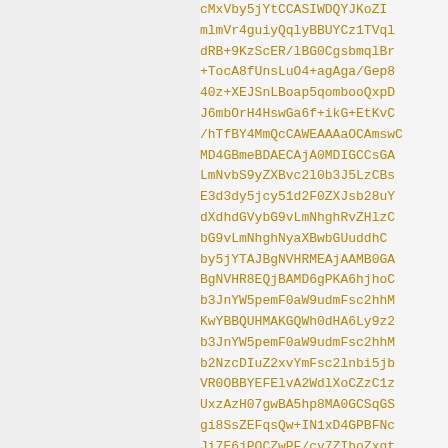cMxVby5jYtCCASIWDQYJKoZI
mlmVr4guiyQqlyBBUYCz1TVql
dRB+9KzScER/lBG0CgsbmqlBr
+TocA8fUnsLuO4+agAga/Gep8
40z+XEJSnLBoap5qombooQxpD
J6mbOrH4HswGa6f+ikG+EtKvC
/hTfBY4MmQcCAWEAAAaOCAmswC
MD4GBmeBDAECAjA0MDIGCCsGA
LmNvbS9yZXBvc2l0b3J5LzCBs
E3d3dy5jcy51d2F0ZXJsb28uY
dXdhdGVvybG9vLmNhghRvZHlzC
bG9vLmNhghNyaXBwbGUuddhC
by5jYTAJBgNVHRMEAjAAMB0GA
BgNVHR8EQjBAMD6gPKA6hjhoC
b3JnYW5pemF0aW9udmFsc2hhM
KwYBBQUHMAKGQWh0dHA6Ly9z2
b3JnYW5pemF0aW9udmFsc2hhM
b2NzcDIuZ2xvYmFsc2lnbi5jb
VR0OBBYEFElvA2WdlXoCZzC1z
UxzAzH07gwBA5hp8MA0GCSqGS
gi8SsZEFqsQw+IN1xD4GPBFNc
Ji7E6jPOCZwPF/cv7ZIhoZxqt